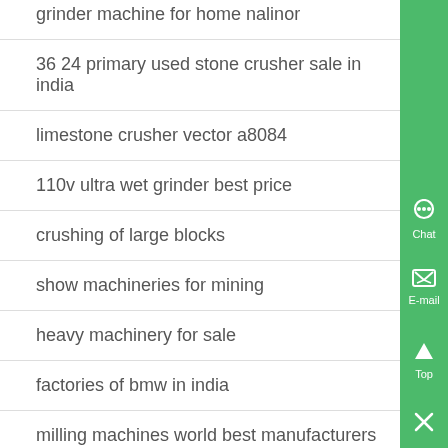grinder machine for home nalinor
36 24 primary used stone crusher sale in india
limestone crusher vector a8084
110v ultra wet grinder best price
crushing of large blocks
show machineries for mining
heavy machinery for sale
factories of bmw in india
milling machines world best manufacturers